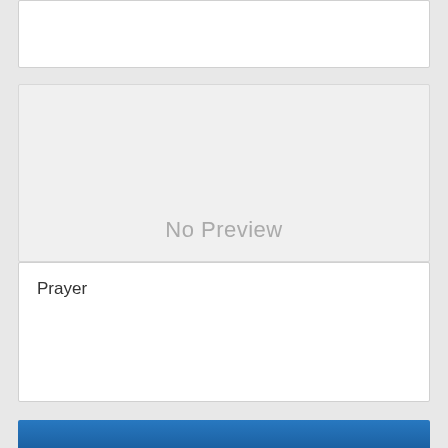[Figure (other): Top white card, partially visible, empty content area]
[Figure (other): Gray 'No Preview' placeholder card with light gray background and centered gray text reading 'No Preview']
Prayer
[Figure (other): Blue gradient card partially visible at the bottom of the page]